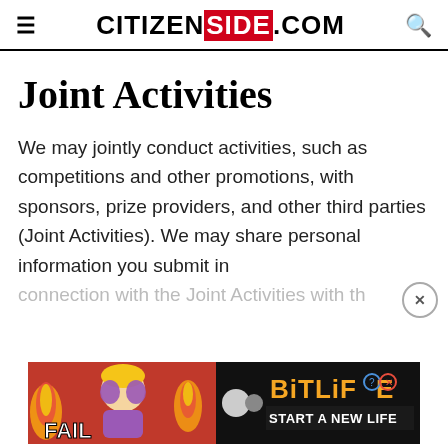CITIZENSIDE.COM
Joint Activities
We may jointly conduct activities, such as competitions and other promotions, with sponsors, prize providers, and other third parties (Joint Activities). We may share personal information you submit in connection with the Joint Activities with th
[Figure (advertisement): BitLife mobile game advertisement with 'FAIL' text, animated character, flames, and 'START A NEW LIFE' tagline on dark background]